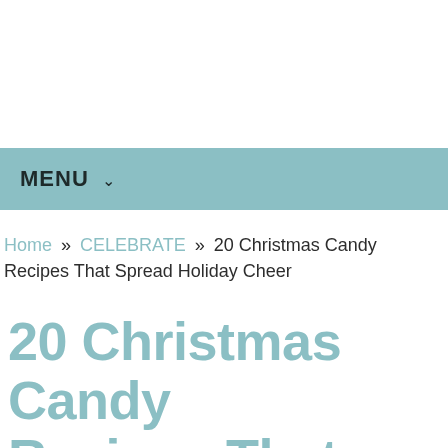MENU
Home » CELEBRATE » 20 Christmas Candy Recipes That Spread Holiday Cheer
20 Christmas Candy Recipes That Spread